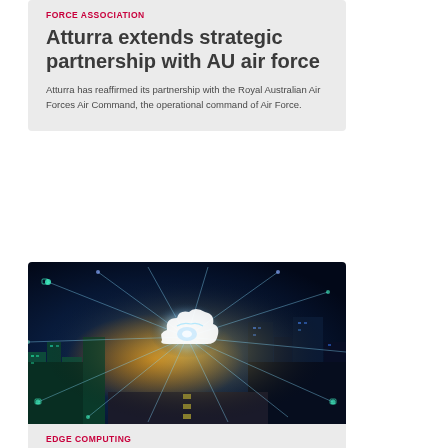FORCE ASSOCIATION
Atturra extends strategic partnership with AU air force
Atturra has reaffirmed its partnership with the Royal Australian Air Forces Air Command, the operational command of Air Force.
[Figure (photo): Aerial city skyline at night with glowing network connections and a cloud computing icon overlay, representing edge computing / smart city / IoT connectivity.]
EDGE COMPUTING